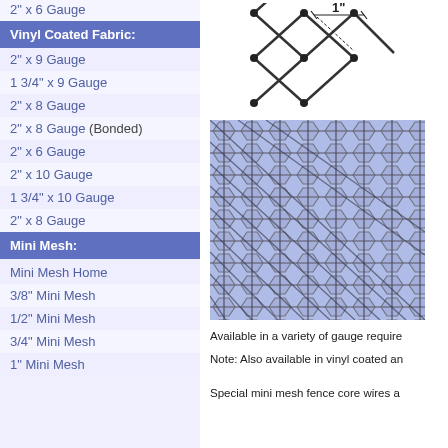2" x 6 Gauge
Vinyl Coated Fabric:
2" x 9 Gauge
1 3/4" x 9 Gauge
2" x 8 Gauge
2" x 8 Gauge (Bonded)
2" x 6 Gauge
2" x 10 Gauge
1 3/4" x 10 Gauge
2" x 8 Gauge
Mini Mesh:
Mini Mesh Home
3/8" Mini Mesh
1/2" Mini Mesh
3/4" Mini Mesh
1" Mini Mesh
[Figure (illustration): Diagram of chain link fence mesh showing diamond pattern with 1 inch measurement label]
[Figure (photo): Close-up photo of vinyl coated chain link fence mesh with blue/purple diamond pattern]
Available in a variety of gauge require
Note: Also available in vinyl coated an
Special mini mesh fence core wires a